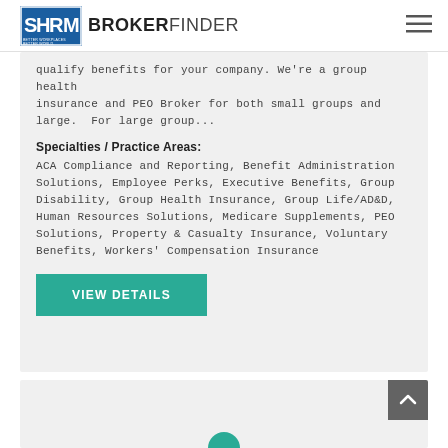SHRM BROKERFINDER
qualify benefits for your company. We're a group health insurance and PEO Broker for both small groups and large.  For large group...
Specialties / Practice Areas:
ACA Compliance and Reporting, Benefit Administration Solutions, Employee Perks, Executive Benefits, Group Disability, Group Health Insurance, Group Life/AD&D, Human Resources Solutions, Medicare Supplements, PEO Solutions, Property & Casualty Insurance, Voluntary Benefits, Workers' Compensation Insurance
VIEW DETAILS
[Figure (screenshot): Partial view of next card with back-to-top button and partially visible circular logo icon]